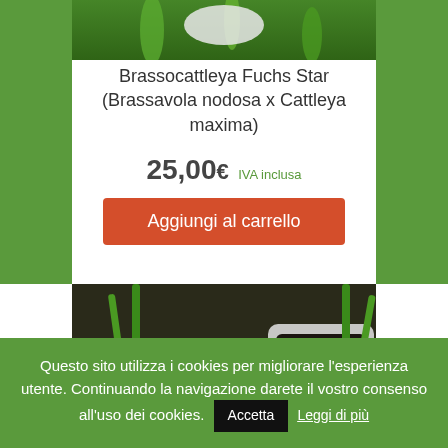[Figure (photo): Top portion of orchid plant photo with green background]
Brassocattleya Fuchs Star (Brassavola nodosa x Cattleya maxima)
25,00€ IVA inclusa
Aggiungi al carrello
[Figure (photo): Three white pots with orchid seedlings in dark soil mix]
Questo sito utilizza i cookies per migliorare l'esperienza utente. Continuando la navigazione darete il vostro consenso all'uso dei cookies. Accetta Leggi di più